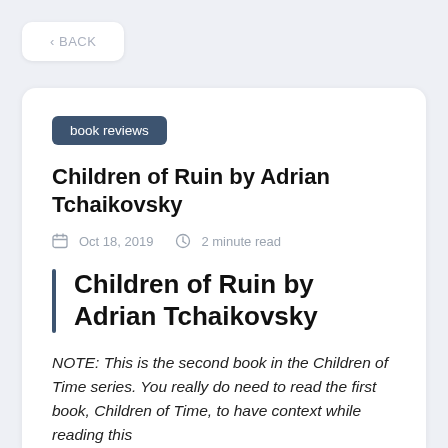< BACK
book reviews
Children of Ruin by Adrian Tchaikovsky
Oct 18, 2019   2 minute read
Children of Ruin by Adrian Tchaikovsky
NOTE: This is the second book in the Children of Time series. You really do need to read the first book, Children of Time, to have context while reading this